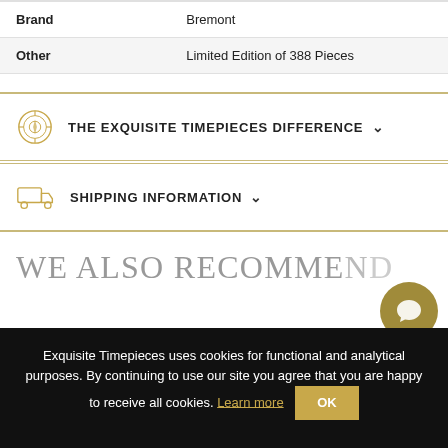|  |  |
| --- | --- |
| Brand | Bremont |
| Other | Limited Edition of 388 Pieces |
THE EXQUISITE TIMEPIECES DIFFERENCE
SHIPPING INFORMATION
WE ALSO RECOMMEND
Exquisite Timepieces uses cookies for functional and analytical purposes. By continuing to use our site you agree that you are happy to receive all cookies. Learn more OK